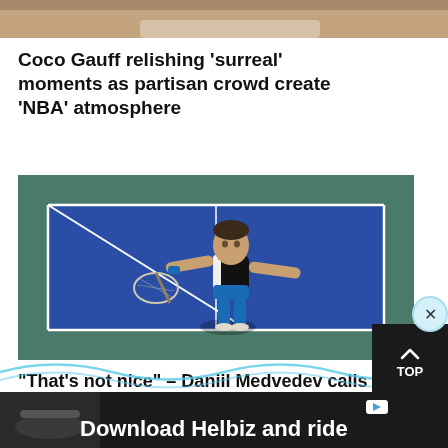[Figure (photo): Cropped photo showing bottom portion of a person, likely Coco Gauff, in white clothing]
Coco Gauff relishing ‘surreal’ moments as partisan crowd create ‘NBA’ atmosphere
[Figure (photo): Daniil Medvedev on a tennis court in blue shorts and black shirt, gesturing with arms outstretched]
“That’s not nice” – Daniil Medvedev calls out a Nick Kyrgios team member for distraction he ‘hopes’ wasn’t deliberate
[Figure (photo): Advertisement banner: Download Helbiz and ride, showing scooter handlebars]